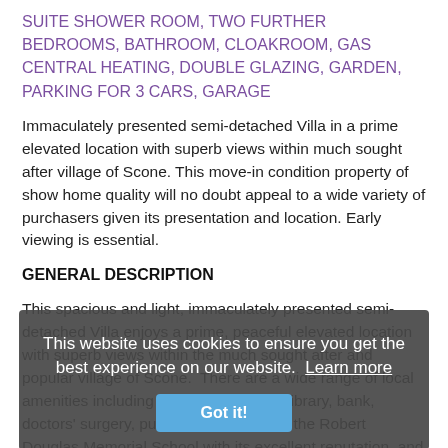SUITE SHOWER ROOM, TWO FURTHER BEDROOMS, BATHROOM, CLOAKROOM, GAS CENTRAL HEATING, DOUBLE GLAZING, GARDEN, PARKING FOR 3 CARS, GARAGE
Immaculately presented semi-detached Villa in a prime elevated location with superb views within much sought after village of Scone. This move-in condition property of show home quality will no doubt appeal to a wide variety of purchasers given its presentation and location. Early viewing is essential.
GENERAL DESCRIPTION
This spacious and light, immaculately presented semi-detached Villa enjoys a prime, peaceful elevated location with superb views within the much sought after and popular village of Scone. There are a wide range of local amenities including shops, post office, library, bank, doctors' surgery, pubs and restaurants, the Robert Douglas Memorial School with its excellent reputation, and parklands close by for walking. Perth city centre some 3 miles away offers a wider range of business, shopping and leisure
This website uses cookies to ensure you get the best experience on our website.
Learn more
Got it!